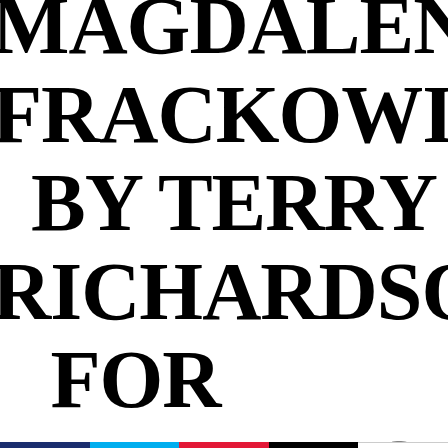MAGDALENA FRACKOWIAK BY TERRY RICHARDSON FOR HARPER'S BAZAAR US